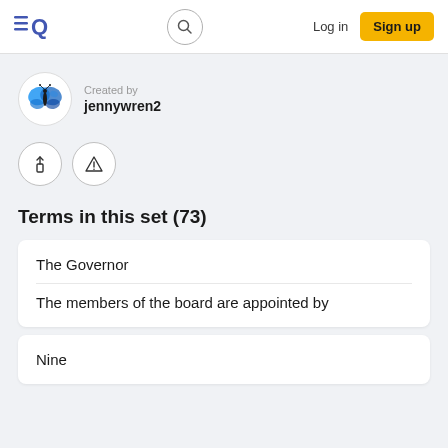Quizlet navigation bar with logo, search, Log in, Sign up
Created by
jennywren2
[Figure (screenshot): Two circular action buttons: share/upload icon and warning/report icon]
Terms in this set (73)
The Governor
The members of the board are appointed by
Nine